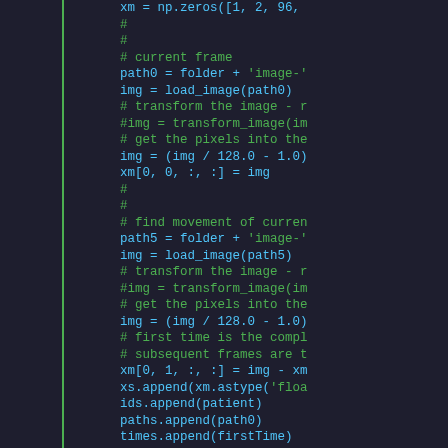[Figure (screenshot): Python source code editor view showing lines 28-58 with syntax highlighting. Line numbers in gray on the left, a green vertical bar separator, code in blue/cyan with comments and strings in green.]